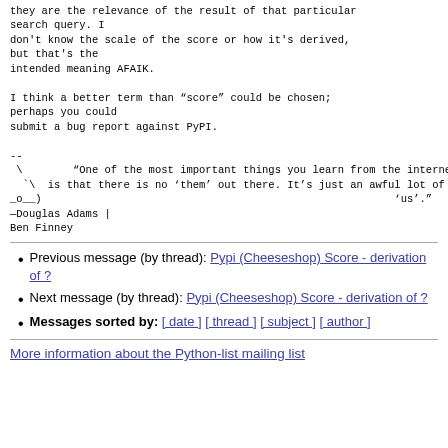they are the relevance of the result of that particular search query. I don't know the scale of the score or how it's derived, but that's the intended meaning AFAIK.

I think a better term than “score” could be chosen; perhaps you could
submit a bug report against PyPI.

--
 \		“One of the most important things you learn from the internet |
  `\	is that there is no ‘them’ out there. It’s just an awful lot of |
_o__)										‘us’."
—Douglas Adams |
Ben Finney
Previous message (by thread): Pypi (Cheeseshop) Score - derivation of ?
Next message (by thread): Pypi (Cheeseshop) Score - derivation of ?
Messages sorted by: [ date ] [ thread ] [ subject ] [ author ]
More information about the Python-list mailing list